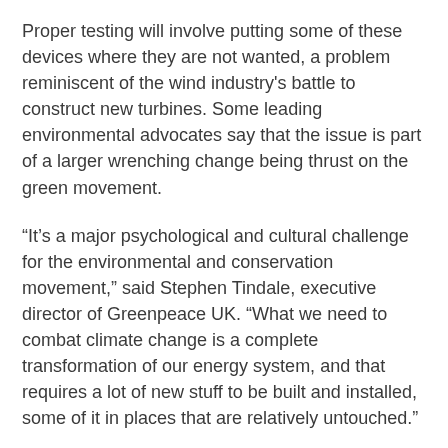Proper testing will involve putting some of these devices where they are not wanted, a problem reminiscent of the wind industry's battle to construct new turbines. Some leading environmental advocates say that the issue is part of a larger wrenching change being thrust on the green movement.
“It’s a major psychological and cultural challenge for the environmental and conservation movement,” said Stephen Tindale, executive director of Greenpeace UK. “What we need to combat climate change is a complete transformation of our energy system, and that requires a lot of new stuff to be built and installed, some of it in places that are relatively untouched.”
But the potential of marine energy is too strong to ignore. For example, a recent report identified San Francisco Bay as being the largest tidal power resource in the continental United States. “There are tremendous resources for generating power along the northern coast of California,” said Uday Mathur, a renewable energy consultant to government agencies and private enterprises.